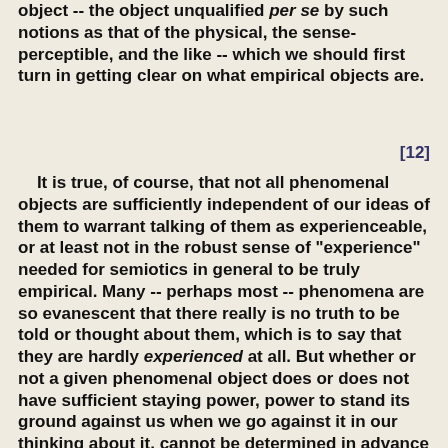object -- the object unqualified per se by such notions as that of the physical, the sense-perceptible, and the like -- which we should first turn in getting clear on what empirical objects are.
[12]
It is true, of course, that not all phenomenal objects are sufficiently independent of our ideas of them to warrant talking of them as experienceable, or at least not in the robust sense of "experience" needed for semiotics in general to be truly empirical. Many -- perhaps most -- phenomena are so evanescent that there really is no truth to be told or thought about them, which is to say that they are hardly experienced at all. But whether or not a given phenomenal object does or does not have sufficient staying power, power to stand its ground against us when we go against it in our thinking about it, cannot be determined in advance by applying to it this or that metaphysical label, including the label "physical", or by subsuming it under this or that special category of apprehension, at least so